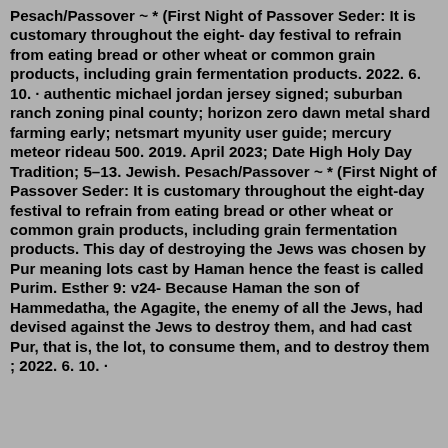Pesach/Passover ~ * (First Night of Passover Seder: It is customary throughout the eight- day festival to refrain from eating bread or other wheat or common grain products, including grain fermentation products. 2022. 6. 10. · authentic michael jordan jersey signed; suburban ranch zoning pinal county; horizon zero dawn metal shard farming early; netsmart myunity user guide; mercury meteor rideau 500. 2019. April 2023; Date High Holy Day Tradition; 5–13. Jewish. Pesach/Passover ~ * (First Night of Passover Seder: It is customary throughout the eight-day festival to refrain from eating bread or other wheat or common grain products, including grain fermentation products. This day of destroying the Jews was chosen by Pur meaning lots cast by Haman hence the feast is called Purim. Esther 9: v24- Because Haman the son of Hammedatha, the Agagite, the enemy of all the Jews, had devised against the Jews to destroy them, and had cast Pur, that is, the lot, to consume them, and to destroy them ; 2022. 6. 10. ·